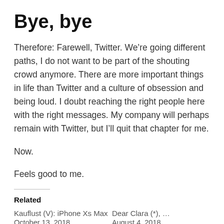Bye, bye
Therefore: Farewell, Twitter. We’re going different paths, I do not want to be part of the shouting crowd anymore. There are more important things in life than Twitter and a culture of obsession and being loud. I doubt reaching the right people here with the right messages. My company will perhaps remain with Twitter, but I’ll quit that chapter for me.
Now.
Feels good to me.
Related
Kauflust (V): iPhone Xs Max
October 13, 2018
Dear Clara (*), …
August 4, 2018